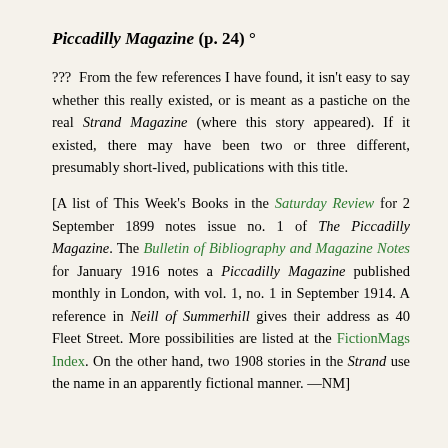Piccadilly Magazine (p. 24) °
???  From the few references I have found, it isn't easy to say whether this really existed, or is meant as a pastiche on the real Strand Magazine (where this story appeared). If it existed, there may have been two or three different, presumably short-lived, publications with this title.
[A list of This Week's Books in the Saturday Review for 2 September 1899 notes issue no. 1 of The Piccadilly Magazine. The Bulletin of Bibliography and Magazine Notes for January 1916 notes a Piccadilly Magazine published monthly in London, with vol. 1, no. 1 in September 1914. A reference in Neill of Summerhill gives their address as 40 Fleet Street. More possibilities are listed at the FictionMags Index. On the other hand, two 1908 stories in the Strand use the name in an apparently fictional manner. —NM]